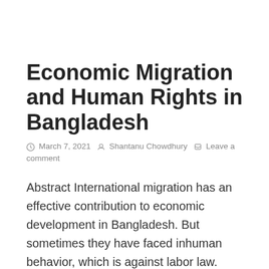Economic Migration and Human Rights in Bangladesh
March 7, 2021   Shantanu Chowdhury   Leave a comment
Abstract International migration has an effective contribution to economic development in Bangladesh. But sometimes they have faced inhuman behavior, which is against labor law. Bangladesh government has few institutions, who are dealing with the migration process including labor rights.